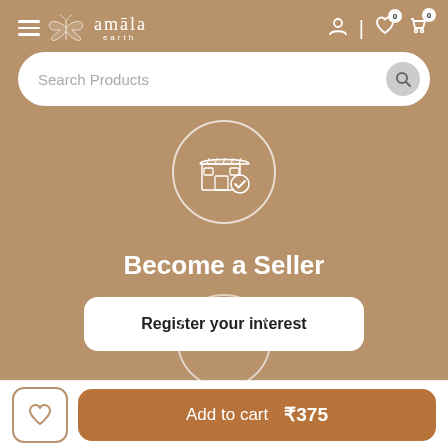amāla earth — navigation header with hamburger menu, logo, user icon, wishlist (0), cart (0)
Search Products
[Figure (illustration): Store/shop icon inside a circle — white outline illustration of a market stall or shop with a verification checkmark badge]
Become a Seller
Register your interest
[Figure (illustration): Partially visible circle icon at bottom of main content area]
Add to cart  ₹375